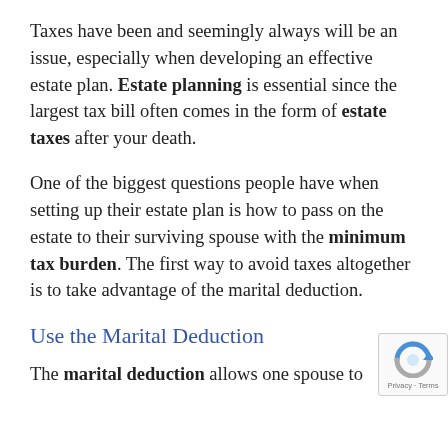Taxes have been and seemingly always will be an issue, especially when developing an effective estate plan. Estate planning is essential since the largest tax bill often comes in the form of estate taxes after your death.
One of the biggest questions people have when setting up their estate plan is how to pass on the estate to their surviving spouse with the minimum tax burden. The first way to avoid taxes altogether is to take advantage of the marital deduction.
Use the Marital Deduction
The marital deduction allows one spouse to